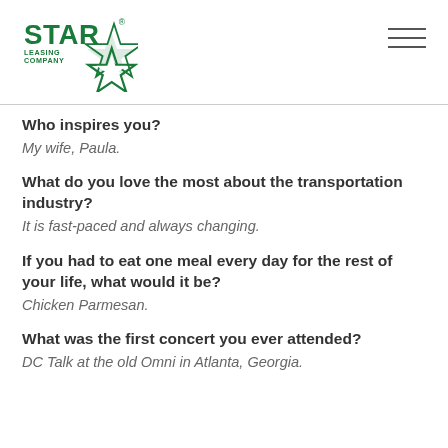[Figure (logo): Star Leasing Company logo — green star shape with 'STAR' text in bold green letters and 'LEASING COMPANY' in smaller text]
Who inspires you?
My wife, Paula.
What do you love the most about the transportation industry?
It is fast-paced and always changing.
If you had to eat one meal every day for the rest of your life, what would it be?
Chicken Parmesan.
What was the first concert you ever attended?
DC Talk at the old Omni in Atlanta, Georgia.